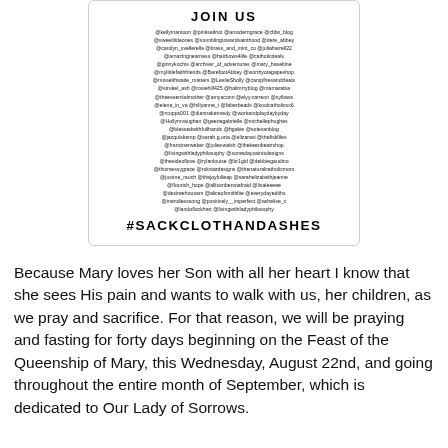JOIN US
@kellymantoon @pinksaltriot @amoderngrace @cfdw_blog @sweetlittleones @stumblingtowardsainthood @dere_abbey @carolyn_svellerella @brass_and_mint_co @juliaharrell22 @amazingnearness @hairbows4life @catholicdeals @ginnykochis @archiver_of_adventures @mary_haseltine @mylittlefaithfriends @BarefootAbbey @worthyotagapeshop @misselthwaite_matters @LeslieSholly @campfiresandcleats @strukel_ash @rosiehill425 @hailmrryblog @mamarabia @theessentialmother @amyaconn @elyy.carreon @sylbass @elena_in_va @hillyanne_t @faberbeads @koolcatholics x6 @rcupps001 @diannakennedy @workandplaydaybyday @Hollymvaughan @geenagabrielle @michellephughes @blessedwithfullhands @hgakie @sotexanblog @jacquiskemp @sarah.g.orta @elizarasi @thefiskfiles @francinerweber @julievwalsh @thekeenbeanshop @livingwithladyphilosophy @somedaysaintsdesigns @thesideoflove @rylanlouise @brigid @debbiegaudino @thismessygrace @rokstardesigns @thenaturalcatholicmom @justine_rauch @thejoyfulleap @sarahelizabethjeanne @flourish_hope @allisonbenotafraid @lisaleeeee @desireehousam @aliceoftsmithlite @everydayediths @inendlesssong @positively__imperfect @ashelise_c @landoflockhart @livingwithladyphilosophy
#SACKCLOTHANDASHES
Because Mary loves her Son with all her heart I know that she sees His pain and wants to walk with us, her children, as we pray and sacrifice. For that reason, we will be praying and fasting for forty days beginning on the Feast of the Queenship of Mary, this Wednesday, August 22nd, and going throughout the entire month of September, which is dedicated to Our Lady of Sorrows.